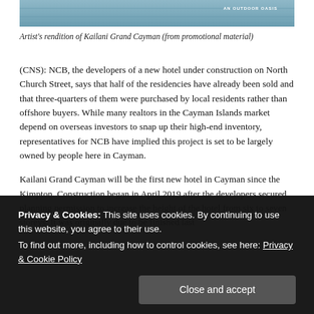[Figure (photo): Top portion of artist's rendition of Kailani Grand Cayman showing water/pool area with text overlay 'AN OUTDOOR OASIS']
Artist's rendition of Kailani Grand Cayman (from promotional material)
(CNS): NCB, the developers of a new hotel under construction on North Church Street, says that half of the residencies have already been sold and that three-quarters of them were purchased by local residents rather than offshore buyers. While many realtors in the Cayman Islands market depend on overseas investors to snap up their high-end inventory, representatives for NCB have implied this project is set to be largely owned by people here in Cayman.
Kailani Grand Cayman will be the first new hotel in Cayman since the Kimpton. Construction began in April 2019 after the developers secured planning permission to increase the height of the hotel from six to seven storeys. It was originally due to be finished last
the remaining half of the available residencies at a time of high